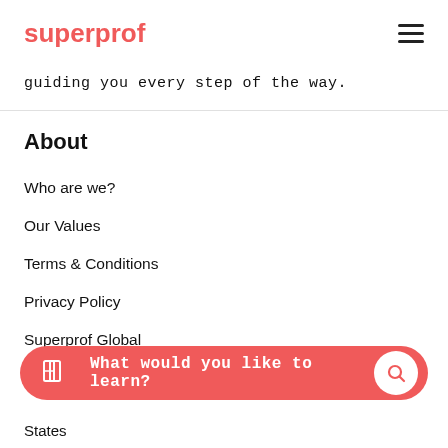superprof
guiding you every step of the way.
About
Who are we?
Our Values
Terms & Conditions
Privacy Policy
Superprof Global
What would you like to learn?
States